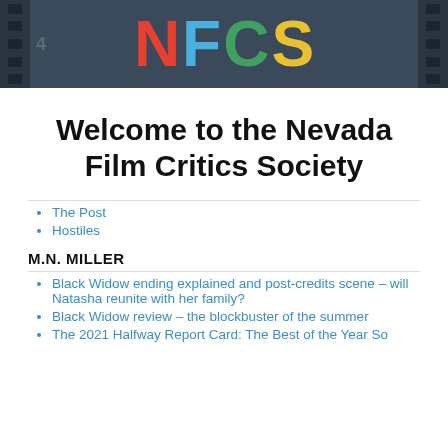[Figure (logo): NFCS logo banner with dark film strip background. Letters N (red), F (blue), C (green), S (yellow) in large bold font. Frame number 4 visible on left side.]
Welcome to the Nevada Film Critics Society
The Post
Hostiles
M.N. MILLER
Black Widow ending explained and post-credits scene – will Natasha reunite with her family?
Black Widow review – the blockbuster of the summer
The 2021 Halfway Report Card: The Best of the Year So